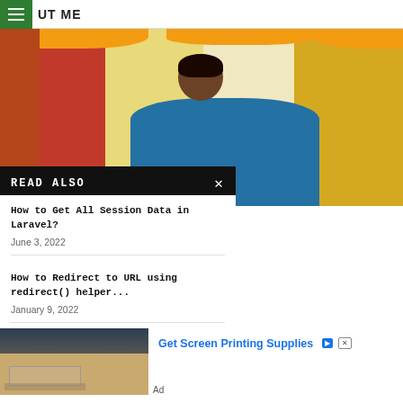UT ME
[Figure (photo): Person in blue suit at a decorated venue with orange marigold garlands and yellow/red curtains]
READ ALSO
How to Get All Session Data in Laravel?
June 3, 2022
How to Redirect to URL using redirect() helper...
January 9, 2022
[Figure (photo): Advertisement image showing screen printing equipment]
Get Screen Printing Supplies
Ad